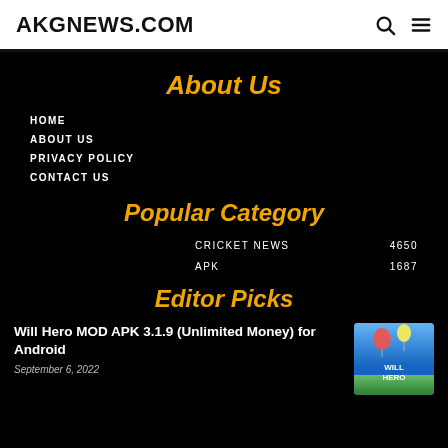AKGNEWS.COM
About Us
HOME
ABOUT US
PRIVACY POLICY
CONTACT US
Popular Category
| Category | Count |
| --- | --- |
| CRICKET NEWS | 4650 |
| APK | 1687 |
Editor Picks
Will Hero MOD APK 3.1.9 (Unlimited Money) for Android
September 6, 2022